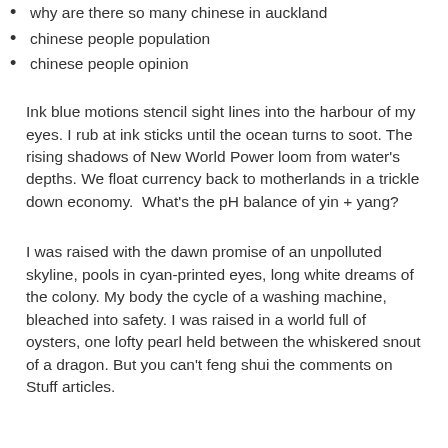why are there so many chinese in auckland
chinese people population
chinese people opinion
Ink blue motions stencil sight lines into the harbour of my eyes. I rub at ink sticks until the ocean turns to soot. The rising shadows of New World Power loom from water's depths. We float currency back to motherlands in a trickle down economy.  What's the pH balance of yin + yang?
I was raised with the dawn promise of an unpolluted skyline, pools in cyan-printed eyes, long white dreams of the colony. My body the cycle of a washing machine, bleached into safety. I was raised in a world full of oysters, one lofty pearl held between the whiskered snout of a dragon. But you can't feng shui the comments on Stuff articles.